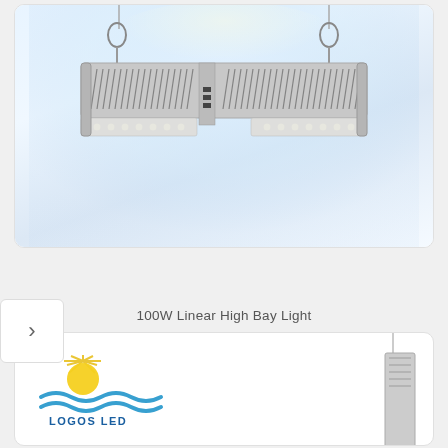[Figure (photo): 100W Linear High Bay LED light fixture suspended by two metal carabiner hooks on cables, showing gray aluminum housing with ventilation fins on top and LED panel on bottom, photographed against a white/blue gradient background.]
100W Linear High Bay Light
[Figure (logo): Logos LED company logo showing a sun with rays above stylized blue ocean waves, with text 'LOGOS LED' below in blue.]